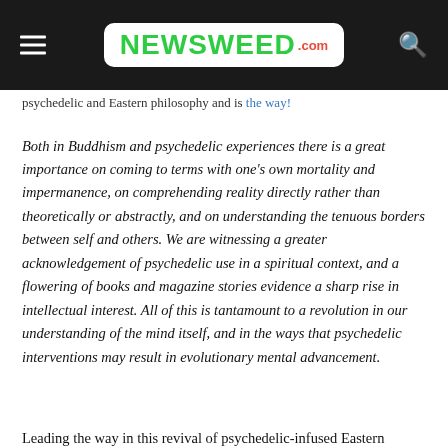NEWSWEED.COM
psychedelic and Eastern philosophy and is the way!
Both in Buddhism and psychedelic experiences there is a great importance on coming to terms with one's own mortality and impermanence, on comprehending reality directly rather than theoretically or abstractly, and on understanding the tenuous borders between self and others. We are witnessing a greater acknowledgement of psychedelic use in a spiritual context, and a flowering of books and magazine stories evidence a sharp rise in intellectual interest. All of this is tantamount to a revolution in our understanding of the mind itself, and in the ways that psychedelic interventions may result in evolutionary mental advancement.
Leading the way in this revival of psychedelic-infused Eastern philosophy are our youth. This makes sense given